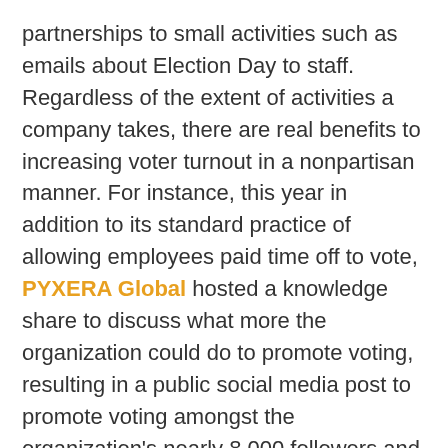partnerships to small activities such as emails about Election Day to staff. Regardless of the extent of activities a company takes, there are real benefits to increasing voter turnout in a nonpartisan manner. For instance, this year in addition to its standard practice of allowing employees paid time off to vote, PYXERA Global hosted a knowledge share to discuss what more the organization could do to promote voting, resulting in a public social media post to promote voting amongst the organization's nearly 8,000 followers and an exchange internally of resources for voter promotion and volunteering.
From the large number of companies engaged in